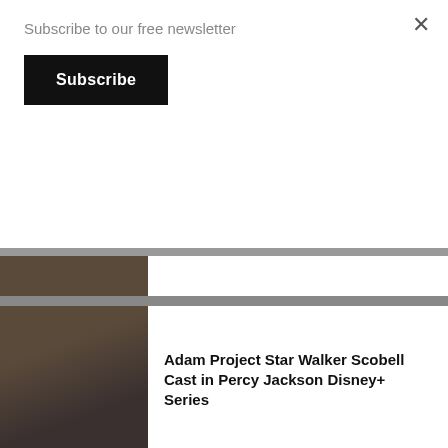Subscribe to our free newsletter
Subscribe
×
[Figure (photo): Partial thumbnail of a person at top of article list]
Adam Project Star Walker Scobell Cast in Percy Jackson Disney+ Series
[Figure (photo): Photo of Walker Scobell, young actor with curly hair in dark jacket]
Paul Wesley Cast as James T. Kirk in Star Trek: Strange New Worlds Season 2
[Figure (photo): Photo of Paul Wesley in Star Trek gold uniform on bridge set]
Villain-Centric TMNT Movies in Development at Paramount
[Figure (photo): TMNT artwork showing the four turtles in a stylized illustration]
Teen Wolf Revival Film Announces Returning Cast
[Figure (photo): Partial photo of actor from Teen Wolf with glowing eyes]